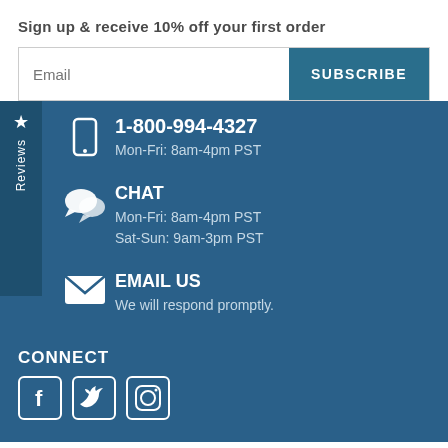Sign up & receive 10% off your first order
Email
SUBSCRIBE
★ Reviews
1-800-994-4327
Mon-Fri: 8am-4pm PST
CHAT
Mon-Fri: 8am-4pm PST
Sat-Sun: 9am-3pm PST
EMAIL US
We will respond promptly.
CONNECT